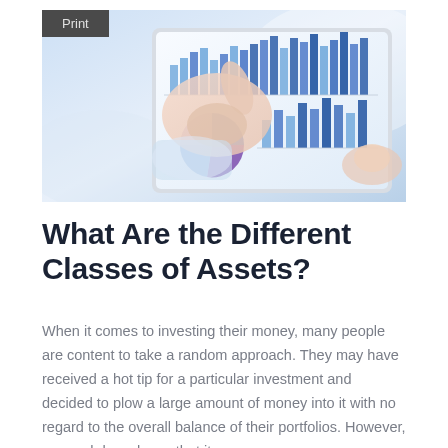Print
[Figure (photo): A person's hand touching a tablet screen displaying bar charts and pie charts — financial data visualizations in blue and purple tones on a white tablet, placed on a desk.]
What Are the Different Classes of Assets?
When it comes to investing their money, many people are content to take a random approach. They may have received a hot tip for a particular investment and decided to plow a large amount of money into it with no regard to the overall balance of their portfolios. However, research has shown that it